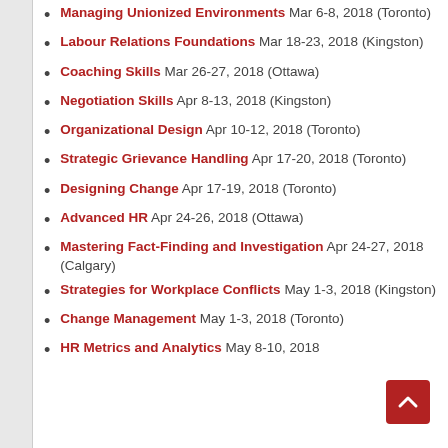Managing Unionized Environments Mar 6-8, 2018 (Toronto)
Labour Relations Foundations Mar 18-23, 2018 (Kingston)
Coaching Skills Mar 26-27, 2018 (Ottawa)
Negotiation Skills Apr 8-13, 2018 (Kingston)
Organizational Design Apr 10-12, 2018 (Toronto)
Strategic Grievance Handling Apr 17-20, 2018 (Toronto)
Designing Change Apr 17-19, 2018 (Toronto)
Advanced HR Apr 24-26, 2018 (Ottawa)
Mastering Fact-Finding and Investigation Apr 24-27, 2018 (Calgary)
Strategies for Workplace Conflicts May 1-3, 2018 (Kingston)
Change Management May 1-3, 2018 (Toronto)
HR Metrics and Analytics May 8-10, 2018